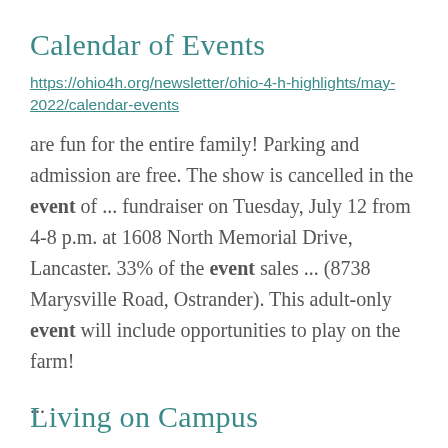Calendar of Events
https://ohio4h.org/newsletter/ohio-4-h-highlights/may-2022/calendar-events
are fun for the entire family! Parking and admission are free. The show is cancelled in the event of ... fundraiser on Tuesday, July 12 from 4-8 p.m. at 1608 North Memorial Drive, Lancaster. 33% of the event sales ... (8738 Marysville Road, Ostrander). This adult-only event will include opportunities to play on the farm!
...
Living on Campus